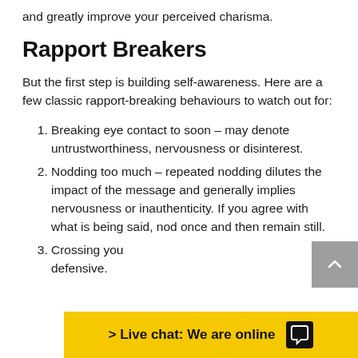and greatly improve your perceived charisma.
Rapport Breakers
But the first step is building self-awareness. Here are a few classic rapport-breaking behaviours to watch out for:
Breaking eye contact to soon – may denote untrustworthiness, nervousness or disinterest.
Nodding too much – repeated nodding dilutes the impact of the message and generally implies nervousness or inauthenticity. If you agree with what is being said, nod once and then remain still.
Crossing you... defensive.